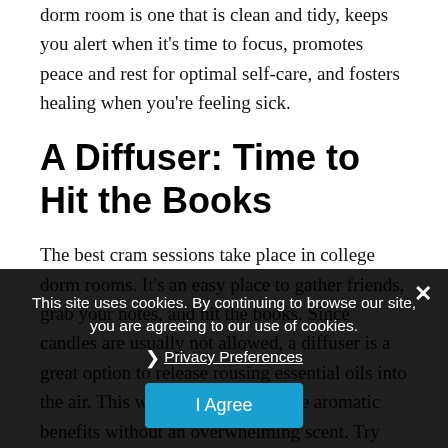With a few basic essentials, you can make sure your dorm room is one that is clean and tidy, keeps you alert when it's time to focus, promotes peace and rest for optimal self-care, and fosters healing when you're feeling sick.
A Diffuser: Time to Hit the Books
The best cram sessions take place in college dorm rooms. It's an easy place to gather friends, grab your notes, and hit the books. Since candles are usually not allowed, a diffuser is a great option to release rousing essential oils into the air. This way, you can enjoy the aromatic benefits without an overwhelming scent. Try spritzing a few sprays of our Mint-infus… 100% Pure Eucalyptus… ist into the water i… your diffuser. Peppermint provides an invigorating
This site uses cookies. By continuing to browse our site, you are agreeing to our use of cookies.
Privacy Preferences
I Agree